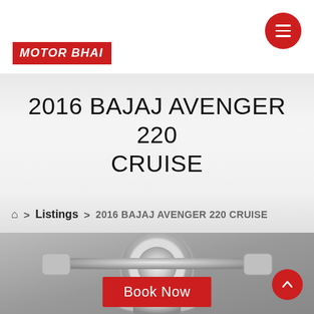[Figure (logo): MotorBhai logo — red background with white italic bold text reading MOTOR BHAI]
2016 BAJAJ AVENGER 220 CRUISE
🏠 > Listings > 2016 BAJAJ AVENGER 220 CRUISE
[Figure (photo): Close-up photo of a chrome/silver motorcycle handlebar and headlight assembly of the Bajaj Avenger 220 Cruise]
Book Now